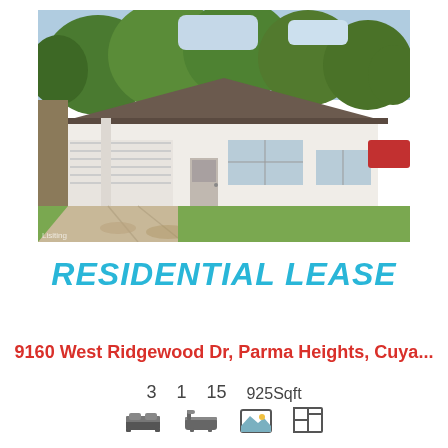[Figure (photo): Exterior photo of a single-story ranch-style white house with attached garage and concrete driveway, surrounded by green trees and lawn]
RESIDENTIAL LEASE
9160 West Ridgewood Dr, Parma Heights, Cuya...
3  1  15  925Sqft with bed, bath, photo, and floor-plan icons